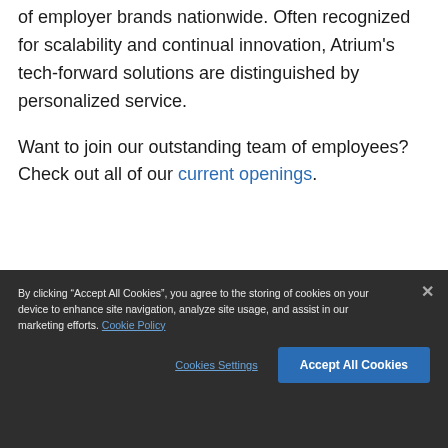of employer brands nationwide. Often recognized for scalability and continual innovation, Atrium's tech-forward solutions are distinguished by personalized service.

Want to join our outstanding team of employees? Check out all of our current openings.
By clicking “Accept All Cookies”, you agree to the storing of cookies on your device to enhance site navigation, analyze site usage, and assist in our marketing efforts. Cookie Policy